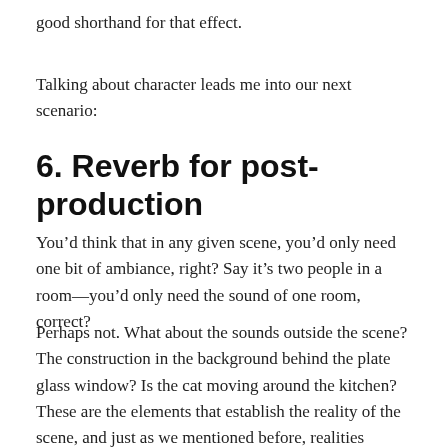good shorthand for that effect.
Talking about character leads me into our next scenario:
6. Reverb for post-production
You’d think that in any given scene, you’d only need one bit of ambiance, right? Say it’s two people in a room—you’d only need the sound of one room, correct?
Perhaps not. What about the sounds outside the scene? The construction in the background behind the plate glass window? Is the cat moving around the kitchen? These are the elements that establish the reality of the scene, and just as we mentioned before, realities require verisimilitude to translate to the medium of mind.